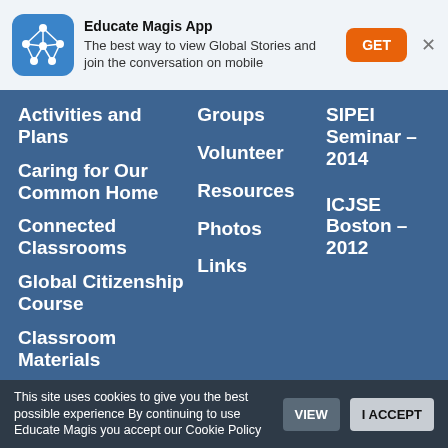[Figure (logo): Educate Magis app icon — blue rounded square with white network/graph nodes illustration]
Educate Magis App
The best way to view Global Stories and join the conversation on mobile
Activities and Plans
Caring for Our Common Home
Connected Classrooms
Global Citizenship Course
Classroom Materials
Groups
Volunteer
Resources
Photos
Links
SIPEI Seminar – 2014
ICJSE Boston – 2012
This site uses cookies to give you the best possible experience By continuing to use Educate Magis you accept our Cookie Policy